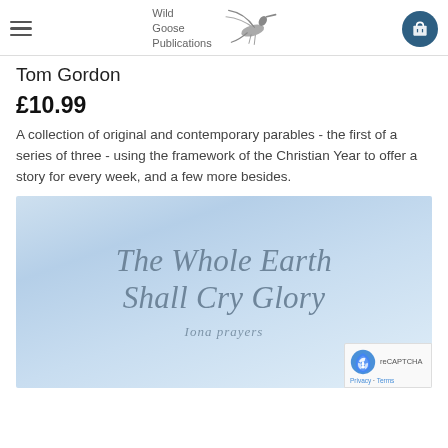Wild Goose Publications
Tom Gordon
£10.99
A collection of original and contemporary parables - the first of a series of three - using the framework of the Christian Year to offer a story for every week, and a few more besides.
[Figure (photo): Book cover image for 'The Whole Earth Shall Cry Glory' with subtitle 'Iona prayers'. Light blue sky background with italic serif font text in grey-blue tones.]